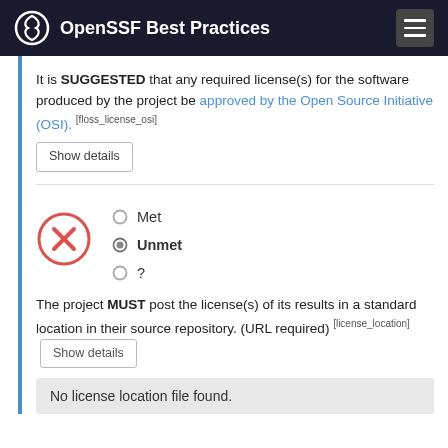OpenSSF Best Practices
It is SUGGESTED that any required license(s) for the software produced by the project be approved by the Open Source Initiative (OSI). [floss_license_osi]
Met
Unmet
?
The project MUST post the license(s) of its results in a standard location in their source repository. (URL required) [license_location]
No license location file found.